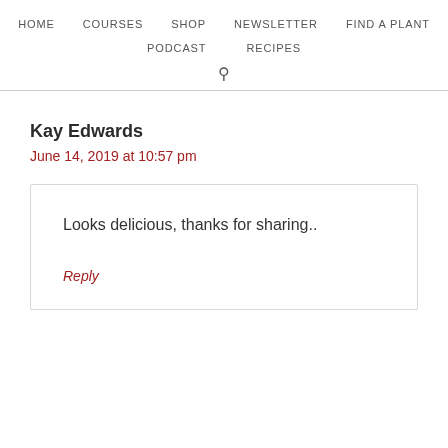HOME   COURSES   SHOP   NEWSLETTER   FIND A PLANT   PODCAST   RECIPES
Kay Edwards
June 14, 2019 at 10:57 pm
Looks delicious, thanks for sharing..
Reply